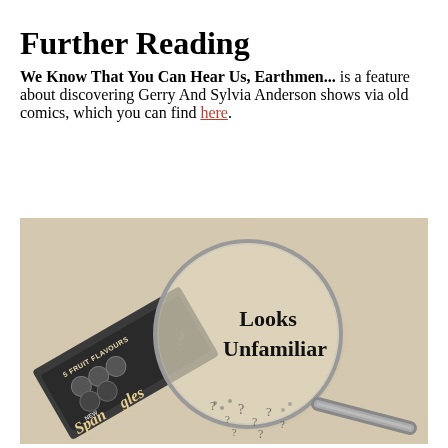Further Reading
We Know That You Can Hear Us, Earthmen... is a feature about discovering Gerry And Sylvia Anderson shows via old comics, which you can find here.
[Figure (photo): Black and white / sepia-toned vintage advertisement image showing a magnifying glass over a packet of Spangles (5 Fruit Flavours, New Spangles) sweets. Inside the magnifying glass circle the text reads 'Looks Unfamiliar' in bold. Question mark symbols appear inside and around the lens.]